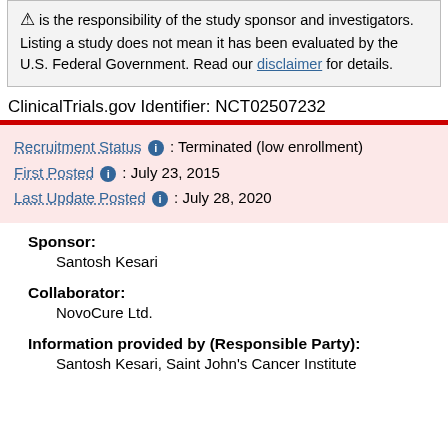is the responsibility of the study sponsor and investigators. Listing a study does not mean it has been evaluated by the U.S. Federal Government. Read our disclaimer for details.
ClinicalTrials.gov Identifier: NCT02507232
Recruitment Status : Terminated (low enrollment)
First Posted : July 23, 2015
Last Update Posted : July 28, 2020
Sponsor:
Santosh Kesari
Collaborator:
NovoCure Ltd.
Information provided by (Responsible Party):
Santosh Kesari, Saint John's Cancer Institute